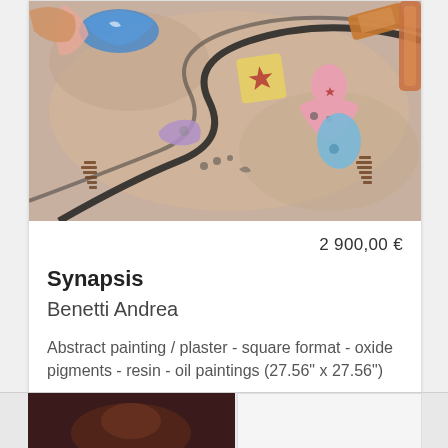[Figure (photo): Colorful abstract painting with plaster, featuring stylized figures, moons, stars, and curved forms in blue, pink, orange, and brown tones on a textured background]
2 900,00 €
Synapsis
Benetti Andrea
Abstract painting / plaster - square format - oxide pigments - resin - oil paintings (27.56" x 27.56")
Rest of the World, Italy
[Figure (photo): Partial view of another artwork at bottom of page, dark reddish tones]